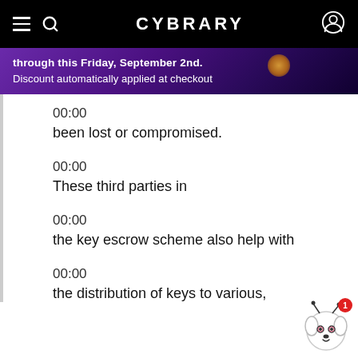CYBRARY
through this Friday, September 2nd. Discount automatically applied at checkout
00:00
been lost or compromised.
00:00
These third parties in
00:00
the key escrow scheme also help with
00:00
the distribution of keys to various,